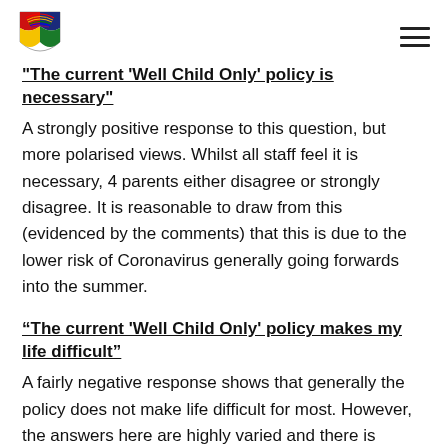[Logo and navigation menu]
"The current 'Well Child Only' policy is necessary"
A strongly positive response to this question, but more polarised views. Whilst all staff feel it is necessary, 4 parents either disagree or strongly disagree. It is reasonable to draw from this (evidenced by the comments) that this is due to the lower risk of Coronavirus generally going forwards into the summer.
“The current 'Well Child Only' policy makes my life difficult”
A fairly negative response shows that generally the policy does not make life difficult for most. However, the answers here are highly varied and there is clearly a significant minority who are experiencing serious difficulties from a childcare perspective, such as a